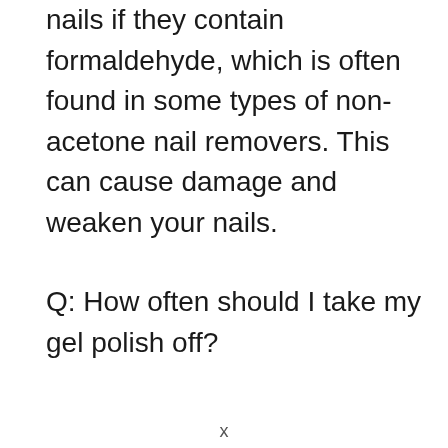nails if they contain formaldehyde, which is often found in some types of non-acetone nail removers. This can cause damage and weaken your nails.
Q: How often should I take my gel polish off?
x